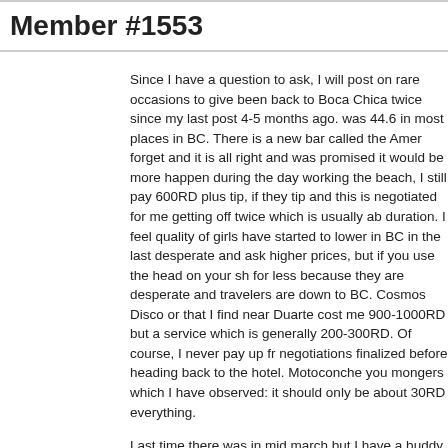Member #1553
Since I have a question to ask, I will post on rare occasions to give been back to Boca Chica twice since my last post 4-5 months ago. was 44.6 in most places in BC. There is a new bar called the Amer forget and it is all right and was promised it would be more happen during the day working the beach, I still pay 600RD plus tip, if they tip and this is negotiated for me getting off twice which is usually ab duration. I feel quality of girls have started to lower in BC in the last desperate and ask higher prices, but if you use the head on your sh for less because they are desperate and travelers are down to BC. Cosmos Disco or that I find near Duarte cost me 900-1000RD but a service which is generally 200-300RD. Of course, I never pay up fr negotiations finalized before heading back to the hotel. Motoconche you mongers which I have observed: it should only be about 30RD everything.
Last time there was in mid march but I have a buddy there now wh weekend in Boca Chica. Last time I was in BC beers varied from 5( good place to buy cigarettes is the Supermercado there and a carte you around 9US. As I have stated in the last few years, avoid La C bunch of thieves there and will overcharge your bill. I still stay at L( favorite hotel there which is a little nicer but is about 10-15 more ex Costalunga. Europa has changed management, it is going downhil is a crook: AVOID Bertrand was awesome at the Europa but he mo couldn't take the crap there from the owner, so I have been told.